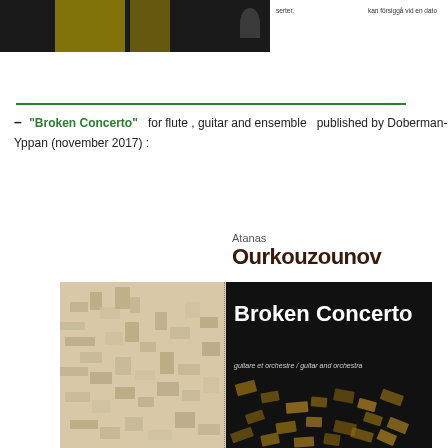[Figure (photo): Partial view of a dark concert/performance image at top left, with partial text fragments visible at top right in Swedish/other language]
serter.
kan försiggå vid en dato
– "Broken Concerto" for flute , guitar and ensemble published by Doberman-Yppan (november 2017) :
[Figure (photo): Book/score cover for Atanas Ourkouzounov's Broken Concerto for guitar and orchestra, showing abstract geometric wooden block patterns on left (beige) and dark background with white text on right]